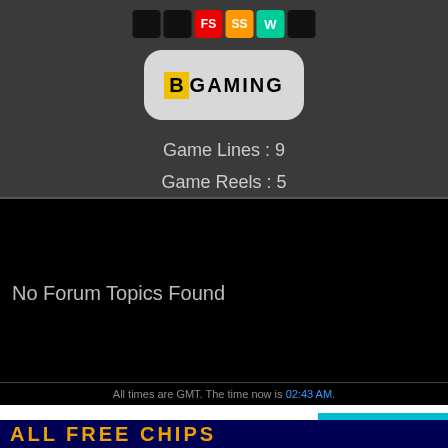[Figure (screenshot): BGaming provider logo on rounded gray background with colored feature badges (FS, SS, W)]
Game Lines : 9
Game Reels : 5
User Input for Hello Easter Slot
No Forum Topics Found
All times are GMT. The time now is 02:43 AM.
This website uses cookies to ensure you get the best experience on our website. Learn more
ALL FREE CHIPS